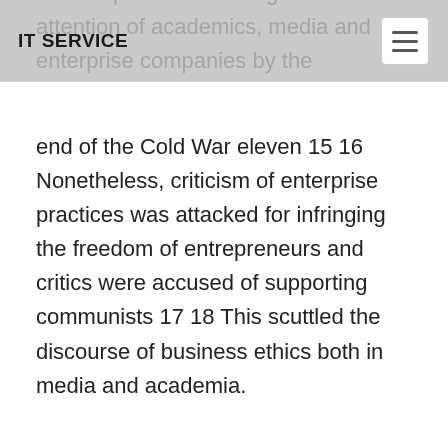IT SERVICE
of Enterprise ethics caught the attention of academics, media and enterprise companies by the end of the Cold War eleven 15 16 Nonetheless, criticism of enterprise practices was attacked for infringing the freedom of entrepreneurs and critics were accused of supporting communists 17 18 This scuttled the discourse of business ethics both in media and academia.